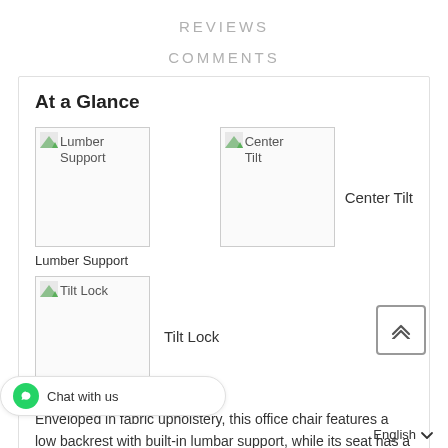REVIEWS
COMMENTS
At a Glance
[Figure (illustration): Lumber Support icon image placeholder]
Lumber Support
[Figure (illustration): Center Tilt icon image placeholder]
Center Tilt
[Figure (illustration): Tilt Lock icon image placeholder]
Tilt Lock
Enveloped in fabric upholstery, this office chair features a low backrest with built-in lumbar support, while its seat has a waterfall edge to thy blood flow.  Tilt tension adjustment, and lever-operated seat